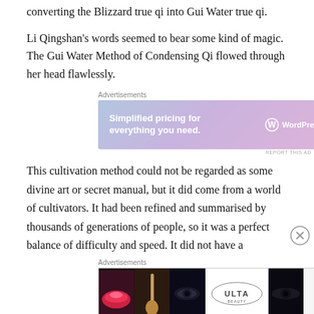converting the Blizzard true qi into Gui Water true qi.
Li Qingshan's words seemed to bear some kind of magic. The Gui Water Method of Condensing Qi flowed through her head flawlessly.
Advertisements
[Figure (other): WordPress.com advertisement banner: 'Simplified pricing for everything you need.' with WordPress.com logo on gradient blue-purple-pink background]
This cultivation method could not be regarded as some divine art or secret manual, but it did come from a world of cultivators. It had been refined and summarised by thousands of generations of people, so it was a perfect balance of difficulty and speed. It did not have a
Advertisements
[Figure (other): ULTA Beauty advertisement banner showing makeup/beauty photos with 'SHOP NOW' button]